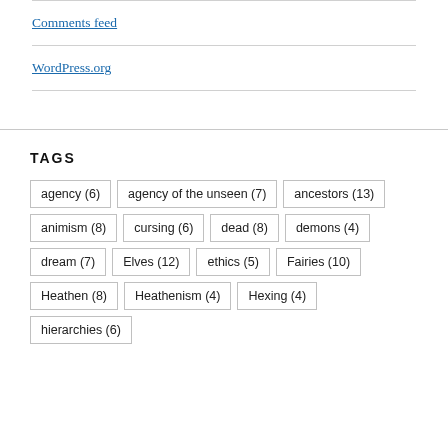Comments feed
WordPress.org
TAGS
agency (6)
agency of the unseen (7)
ancestors (13)
animism (8)
cursing (6)
dead (8)
demons (4)
dream (7)
Elves (12)
ethics (5)
Fairies (10)
Heathen (8)
Heathenism (4)
Hexing (4)
hierarchies (6)